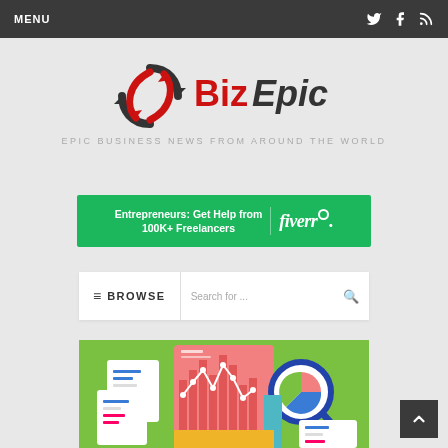MENU
[Figure (logo): BizEpic logo with swirling red and dark circular arrow icon and text 'Biz Epic']
EPIC BUSINESS NEWS FROM AROUND THE WORLD
[Figure (infographic): Fiverr advertisement banner: Entrepreneurs: Get Help from 100K+ Freelancers | fiverr.]
BROWSE  Search for ...
[Figure (illustration): Green background illustration showing business analytics charts, documents, and a magnifying glass with pie chart]